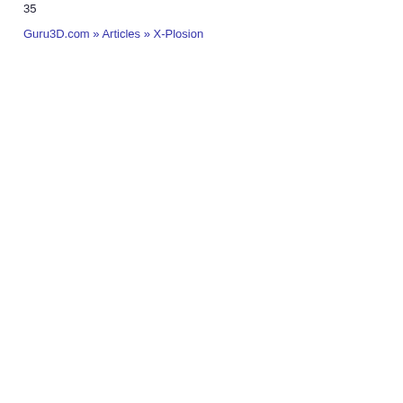35
Guru3D.com » Articles » X-Plosion